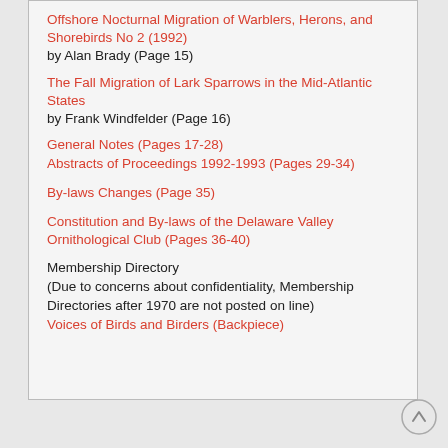Offshore Nocturnal Migration of Warblers, Herons, and Shorebirds No 2 (1992)
by Alan Brady (Page 15)
The Fall Migration of Lark Sparrows in the Mid-Atlantic States
by Frank Windfelder (Page 16)
General Notes (Pages 17-28)
Abstracts of Proceedings 1992-1993 (Pages 29-34)
By-laws Changes (Page 35)
Constitution and By-laws of the Delaware Valley Ornithological Club (Pages 36-40)
Membership Directory
(Due to concerns about confidentiality, Membership Directories after 1970 are not posted on line)
Voices of Birds and Birders (Backpiece)